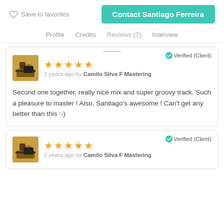Save to favorites | Contact Santiago Ferreira
Profile   Credits   Reviews (7)   Interview
Verified (Client)
★★★★★ 2 years ago by Camilo Silva F Mastering
Second one together, really nice mix and super groovy track. Such a pleasure to master ! Also, Santiago's awesome ! Can't get any better than this :-)
Verified (Client)
★★★★★ 2 years ago by Camilo Silva F Mastering